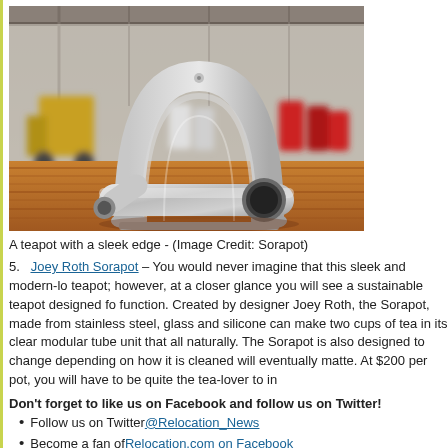[Figure (photo): A modern stainless steel teapot (Sorapot) with a sleek curved design sitting on a wooden surface in an industrial warehouse setting.]
A teapot with a sleek edge - (Image Credit: Sorapot)
5.   Joey Roth Sorapot – You would never imagine that this sleek and modern-lo teapot; however, at a closer glance you will see a sustainable teapot designed fo function. Created by designer Joey Roth, the Sorapot, made from stainless steel, glass and silicone can make two cups of tea in its clear modular tube unit that all naturally. The Sorapot is also designed to change depending on how it is cleaned will eventually matte. At $200 per pot, you will have to be quite the tea-lover to in
Don't forget to like us on Facebook and follow us on Twitter!
Follow us on Twitter @Relocation_News
Become a fan of Relocation.com on Facebook
Fun Ways to Spruce Up Your Home for the